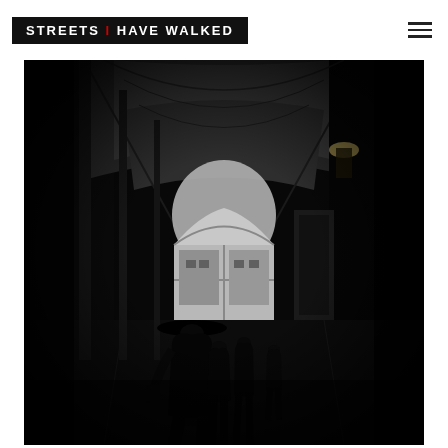STREETS I HAVE WALKED
[Figure (photo): Black and white street photograph of a dark corridor or hallway with arched ceilings and large arched windows at the far end. Several silhouetted figures walk through the hallway, including a prominent figure in a wide-brimmed hat in the foreground. The scene is dramatically lit with light coming through the arched windows.]